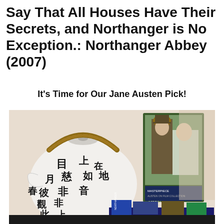Say That All Houses Have Their Secrets, and Northanger is No Exception.: Northanger Abbey (2007)
It's Time for Our Jane Austen Pick!
[Figure (photo): Photo of a white teapot with Chinese calligraphy characters, placed next to a DVD box of Jane Austen's Northanger Abbey (2007 Masterpiece edition) featuring a man in a top hat and a woman, with books stacked in the foreground including a copy of Northanger Abbey.]